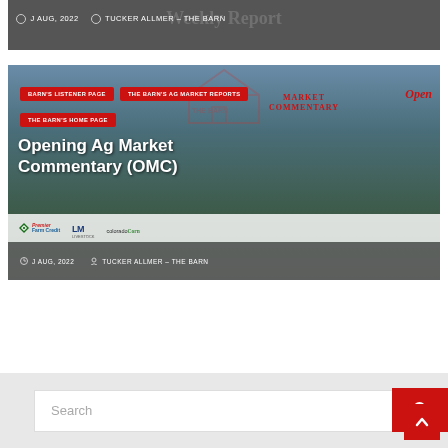[Figure (screenshot): Top banner with 'Weekly Report' title overlaid with meta text: clock icon, 'J AUG, 2022', person icon, 'TUCKER ALLMER – THE BARN']
[Figure (photo): Agricultural landscape image with dark sky and fields. Overlaid navigation buttons: 'BARN'S LISTENER PAGE', 'THE BARN'S AG MARKET REPORTS', 'THE BARN'S HOME PAGE'. Market Commentary logo with 'Open' text. Main title: 'Opening Ag Market Commentary (OMC)'. Sponsor logos: Premier Farm Credit, LM, colorado Corn. Bottom meta: 'J AUG, 2022' and 'TUCKER ALLMER – THE BARN']
Search